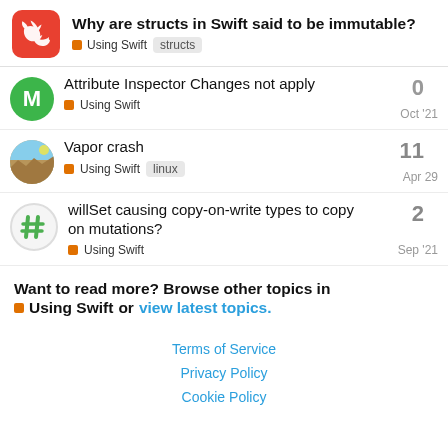Why are structs in Swift said to be immutable? Using Swift structs
Attribute Inspector Changes not apply | Using Swift | 0 | Oct '21
Vapor crash | Using Swift | linux | 11 | Apr 29
willSet causing copy-on-write types to copy on mutations? | Using Swift | 2 | Sep '21
Want to read more? Browse other topics in Using Swift or view latest topics.
Terms of Service  Privacy Policy  Cookie Policy